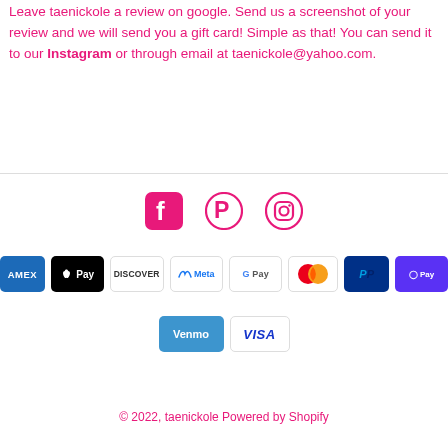Leave taenickole a review on google. Send us a screenshot of your review and we will send you a gift card! Simple as that! You can send it to our Instagram or through email at taenickole@yahoo.com.
[Figure (logo): Social media icons: Facebook, Pinterest, Instagram in pink/hot-pink color]
[Figure (logo): Payment method badges: American Express, Apple Pay, Discover, Meta Pay, Google Pay, Mastercard, PayPal, Shop Pay, Venmo, Visa]
© 2022, taenickole Powered by Shopify